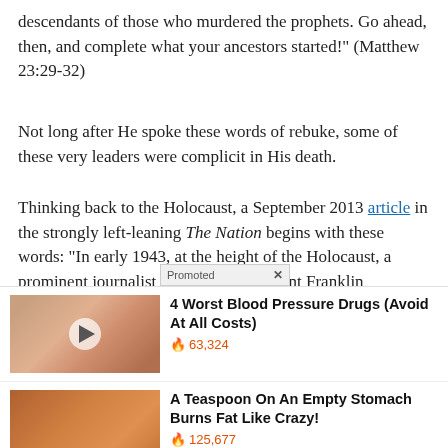descendants of those who murdered the prophets. Go ahead, then, and complete what your ancestors started!" (Matthew 23:29-32)
Not long after He spoke these words of rebuke, some of these very leaders were complicit in His death.
Thinking back to the Holocaust, a September 2013 article in the strongly left-leaning The Nation begins with these words: “In early 1943, at the height of the Holocaust, a prominent journalist denounced President Franklin Roosevelt’s response to the Nazi genocide in harsh terms: “You and I and the President and the Congress and the Stat[Promoted X]t are
[Figure (photo): Ad thumbnail showing open mouth with a pill on tongue, with a play button overlay]
4 Worst Blood Pressure Drugs (Avoid At All Costs)
🔥 63,324
[Figure (photo): Ad thumbnail showing a woman and spice/supplement powder]
A Teaspoon On An Empty Stomach Burns Fat Like Crazy!
🔥 125,677